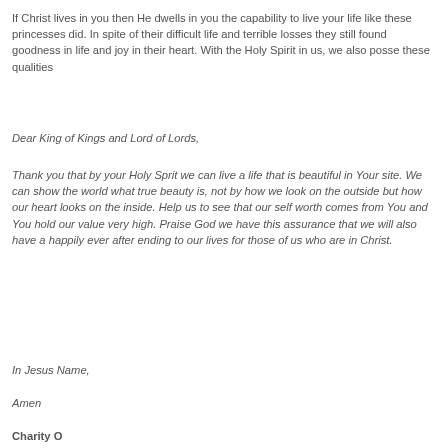If Christ lives in you then He dwells in you the capability to live your life like these princesses did. In spite of their difficult life and terrible losses they still found goodness in life and joy in their heart. With the Holy Spirit in us, we also posse these qualities
Dear King of Kings and Lord of Lords,
Thank you that by your Holy Sprit we can live a life that is beautiful in Your site. We can show the world what true beauty is, not by how we look on the outside but how our heart looks on the inside. Help us to see that our self worth comes from You and You hold our value very high. Praise God we have this assurance that we will also have a happily ever after ending to our lives for those of us who are in Christ.
In Jesus Name,
Amen
Charity O